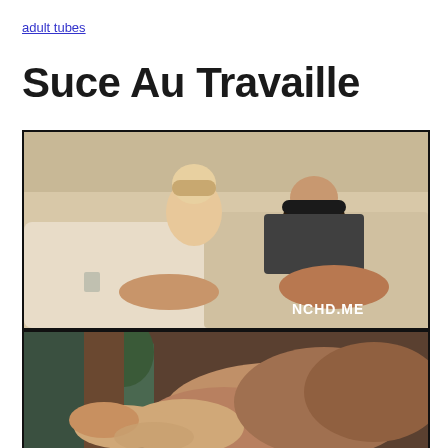adult tubes
Suce Au Travaille
[Figure (photo): Video thumbnail showing two women on a white leather couch, with NCHD.ME watermark in bottom right corner]
[Figure (photo): Video thumbnail showing a massage or intimate scene with blurred/close-up content]